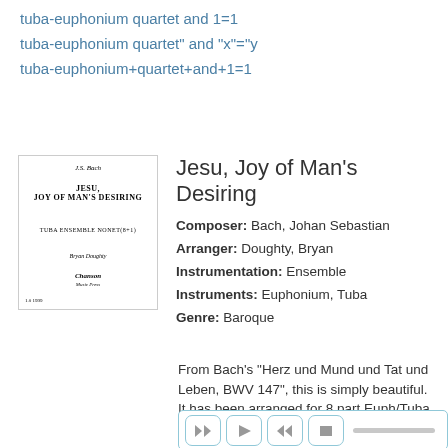tuba-euphonium quartet and 1=1
tuba-euphonium quartet" and "x"="y
tuba-euphonium+quartet+and+1=1
[Figure (illustration): Sheet music cover for Jesu, Joy of Man's Desiring by J.S. Bach, arranged by Bryan Doughty, published by Chanson Music Press. Shows title and tuba ensemble nonet instrumentation.]
Jesu, Joy of Man's Desiring
Composer: Bach, Johan Sebastian
Arranger: Doughty, Bryan
Instrumentation: Ensemble
Instruments: Euphonium, Tuba
Genre: Baroque
From Bach's "Herz und Mund und Tat und Leben, BWV 147", this is simply beautiful. It has been arranged for 8 part Euph/Tuba ensemble. Learn More
[Figure (screenshot): Audio player with rewind, play, fast-forward, and stop buttons, and a progress bar showing 00:00 time.]